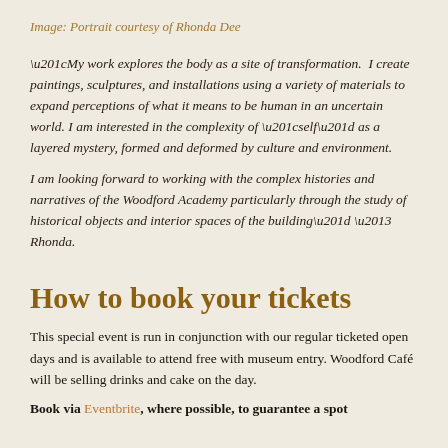Image: Portrait courtesy of Rhonda Dee
“My work explores the body as a site of transformation.  I create paintings, sculptures, and installations using a variety of materials to expand perceptions of what it means to be human in an uncertain world. I am interested in the complexity of “self” as a layered mystery, formed and deformed by culture and environment.

I am looking forward to working with the complex histories and narratives of the Woodford Academy particularly through the study of historical objects and interior spaces of the building” – Rhonda.
How to book your tickets
This special event is run in conjunction with our regular ticketed open days and is available to attend free with museum entry. Woodford Café will be selling drinks and cake on the day.

Book via Eventbrite, where possible, to guarantee a spot